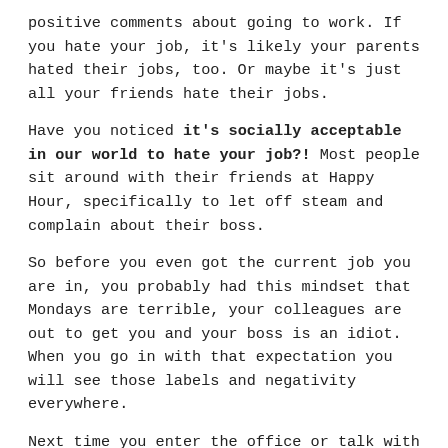positive comments about going to work. If you hate your job, it's likely your parents hated their jobs, too. Or maybe it's just all your friends hate their jobs.
Have you noticed it's socially acceptable in our world to hate your job?! Most people sit around with their friends at Happy Hour, specifically to let off steam and complain about their boss.
So before you even got the current job you are in, you probably had this mindset that Mondays are terrible, your colleagues are out to get you and your boss is an idiot. When you go in with that expectation you will see those labels and negativity everywhere.
Next time you enter the office or talk with a colleague, try looking for another label to assign to that person. One that is in a positive light. Instead of your boss being an “idiot” think of him as